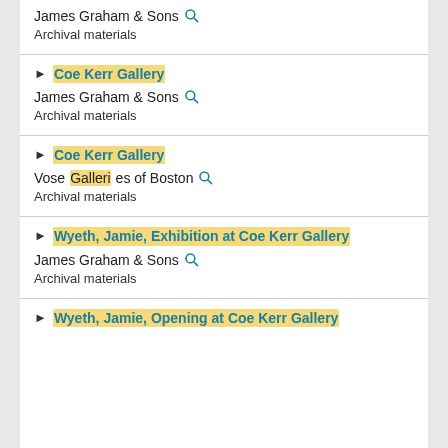James Graham & Sons 🔍
Archival materials
▶ Coe Kerr Gallery
James Graham & Sons 🔍
Archival materials
▶ Coe Kerr Gallery
Vose Galleries of Boston 🔍
Archival materials
▶ Wyeth, Jamie, Exhibition at Coe Kerr Gallery
James Graham & Sons 🔍
Archival materials
▶ Wyeth, Jamie, Opening at Coe Kerr Gallery